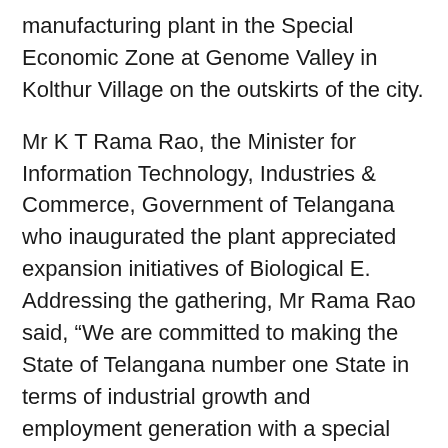manufacturing plant in the Special Economic Zone at Genome Valley in Kolthur Village on the outskirts of the city.
Mr K T Rama Rao, the Minister for Information Technology, Industries & Commerce, Government of Telangana who inaugurated the plant appreciated expansion initiatives of Biological E. Addressing the gathering, Mr Rama Rao said, “We are committed to making the State of Telangana number one State in terms of industrial growth and employment generation with a special focus on life sciences. In fact, these growth engines will not only boost the economy of the State but also improve the livelihood of people, who depend directly or indirectly on these